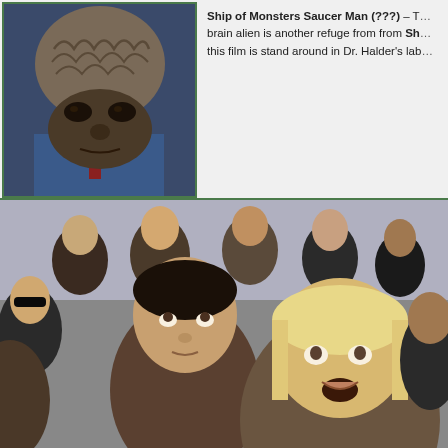[Figure (photo): Close-up of an alien creature costume with large wrinkled brain-like dome head, dark sunken eyes, and wearing a blue jacket]
Ship of Monsters Saucer Man (???) – The brain alien is another refuge from from Sh... this film is stand around in Dr. Halder's lab...
[Figure (photo): A crowd of people looking upward in apparent shock or awe; a man in a brown jacket and a blonde woman with mouth open are prominent in the foreground]